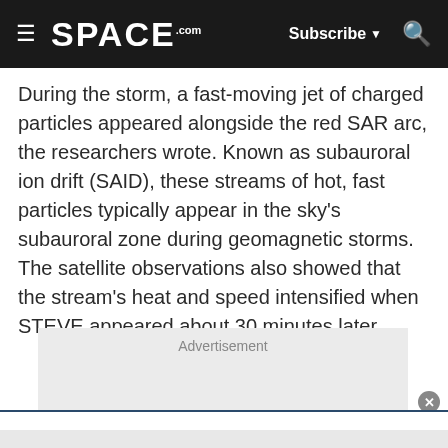SPACE.com — Subscribe — Search
During the storm, a fast-moving jet of charged particles appeared alongside the red SAR arc, the researchers wrote. Known as subauroral ion drift (SAID), these streams of hot, fast particles typically appear in the sky's subauroral zone during geomagnetic storms. The satellite observations also showed that the stream's heat and speed intensified when STEVE appeared about 30 minutes later.
[Figure (other): Advertisement placeholder box]